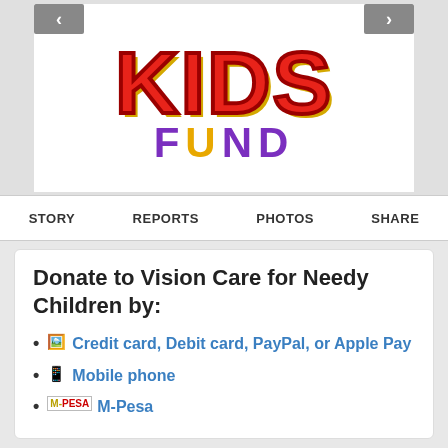[Figure (logo): Kids Fund logo with large red 'KIDS' text and purple 'FUND' text below, on white background with navigation arrows on sides]
STORY   REPORTS   PHOTOS   SHARE
Donate to Vision Care for Needy Children by:
Credit card, Debit card, PayPal, or Apple Pay
Mobile phone
M-Pesa